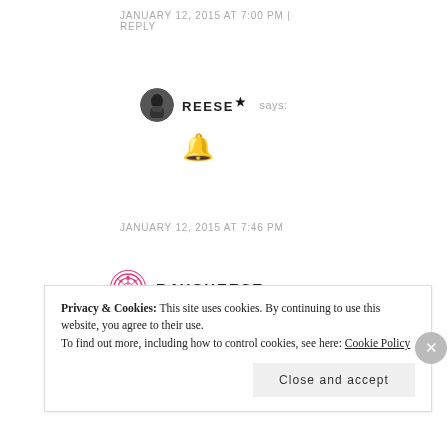JANUARY 12, 2015 AT 7:00 PM | REPLY
REESE ★ says: 🔔
JANUARY 12, 2015 AT 7:46 PM
RAYCHEESE says: Someone jelly much?
Privacy & Cookies: This site uses cookies. By continuing to use this website, you agree to their use. To find out more, including how to control cookies, see here: Cookie Policy
Close and accept